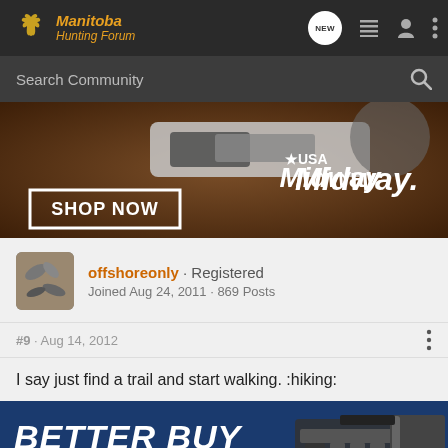Manitoba Hunting Forum
[Figure (screenshot): MidwayUSA advertisement banner showing hunting knife with 'SHOP NOW' button]
offshoreonly · Registered
Joined Aug 24, 2011 · 869 Posts
#9 · Aug 14, 2012
I say just find a trail and start walking. :hiking:
[Figure (screenshot): BETTER BUY advertisement banner with firearm image]